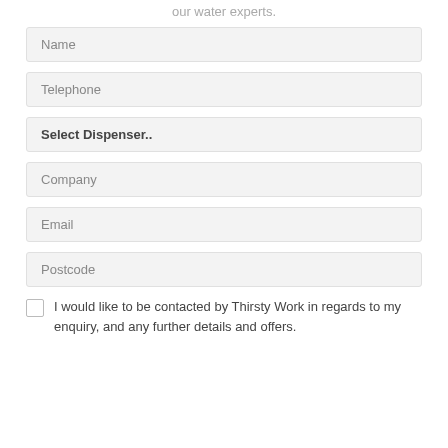our water experts.
Name
Telephone
Select Dispenser..
Company
Email
Postcode
I would like to be contacted by Thirsty Work in regards to my enquiry, and any further details and offers.